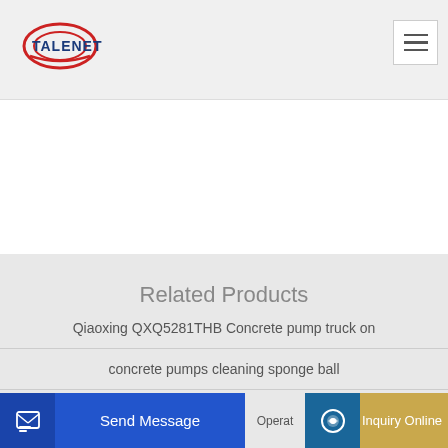TALENET
Related Products
Qiaoxing QXQ5281THB Concrete pump truck on
concrete pumps cleaning sponge ball
Send Message | Operat | Inquiry Online